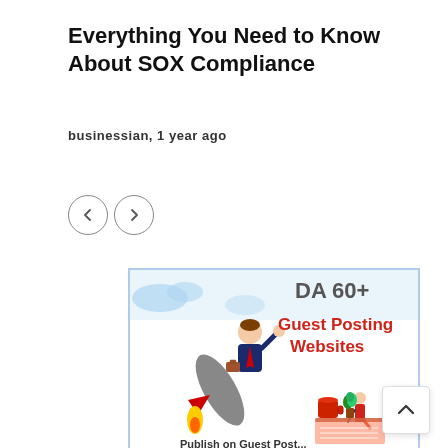Everything You Need to Know About SOX Compliance
businessian, 1 year ago
[Figure (illustration): Navigation arrows: left arrow and right arrow in circular outline buttons]
[Figure (infographic): Promotional infographic showing a cartoon businessman riding a rocket with text 'DA 60+' and 'Guest Posting Websites' in red bold text, with a small figure writing on a notepad, coffee cup, and plant. Partially cut off at the bottom.]